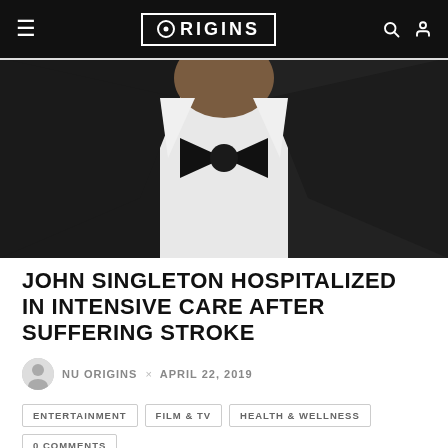ORIGINS
[Figure (photo): Close-up photo of a man in a black tuxedo with bow tie and white dress shirt]
JOHN SINGLETON HOSPITALIZED IN INTENSIVE CARE AFTER SUFFERING STROKE
NU ORIGINS × APRIL 22, 2019
ENTERTAINMENT   FILM & TV   HEALTH & WELLNESS   0 COMMENTS
♡ 0